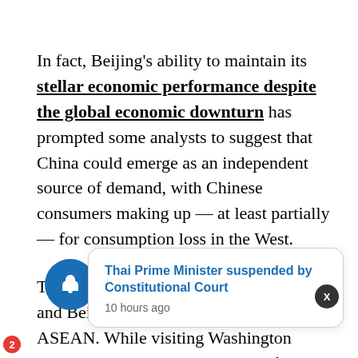In fact, Beijing's ability to maintain its stellar economic performance despite the global economic downturn has prompted some analysts to suggest that China could emerge as an independent source of demand, with Chinese consumers making up — at least partially — for consumption loss in the West.
The need to straddle both Washington's and Beijing's interests is not lost on ASEAN. While visiting Washington earlier this February, Singapore's fo... sted tha... oric in its domestic debates. Ambassador-at-
[Figure (other): Notification bell icon with badge showing '2']
Thai Prime Minister suspended by Constitutional Court
10 hours ago